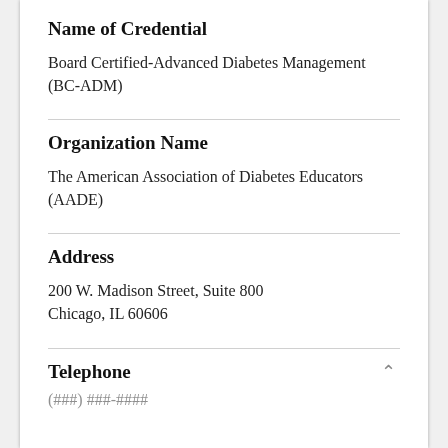Name of Credential
Board Certified-Advanced Diabetes Management (BC-ADM)
Organization Name
The American Association of Diabetes Educators (AADE)
Address
200 W. Madison Street, Suite 800
Chicago, IL 60606
Telephone